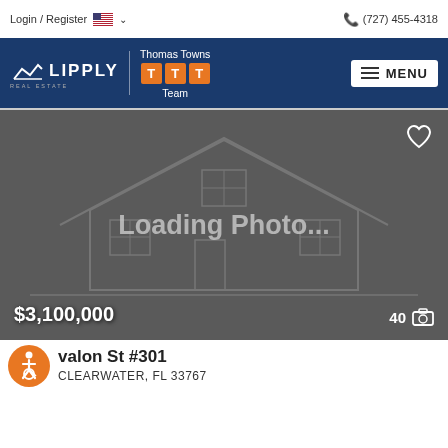Login / Register  🇺🇸 ∨   📞 (727) 455-4318
[Figure (logo): Lipply Real Estate | Thomas Towns TTT Team logo on dark blue background with MENU button]
[Figure (photo): Loading Photo... placeholder image showing a house outline on a dark gray background, with a heart icon top right, $3,100,000 price badge bottom left, and 40 photo count bottom right]
valon St #301
CLEARWATER, FL 33767